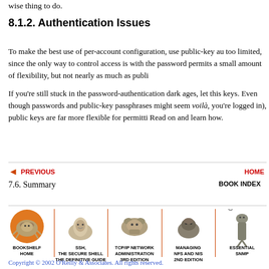wise thing to do.
8.1.2. Authentication Issues
To make the best use of per-account configuration, use public-key au too limited, since the only way to control access is with the password permits a small amount of flexibility, but not nearly as much as publi
If you're still stuck in the password-authentication dark ages, let this keys. Even though passwords and public-key passphrases might seem voilà, you're logged in), public keys are far more flexible for permitti Read on and learn how.
PREVIOUS   HOME
7.6. Summary   BOOK INDEX
[Figure (illustration): Footer navigation bar with book covers: Bookshelf Home (crab on orange circle), SSH The Secure Shell The Definitive Guide (snail), TCP/IP Network Administration 3rd Edition (crab), Managing NFS and NIS 2nd Edition (animal), Essential SNMP (deer/elk)]
Copyright © 2002 O'Reilly & Associates. All rights reserved.